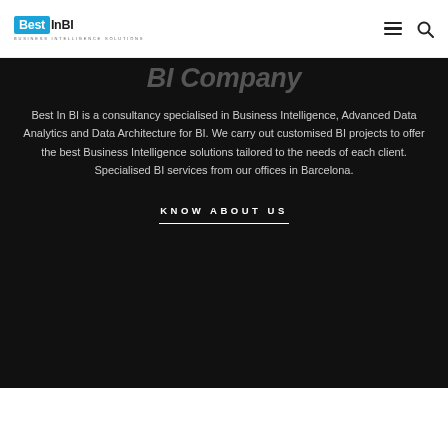[Figure (logo): Best In BI — Business Intelligence Solutions logo with blue background on 'Best' text and dark text for 'InBI']
Best In BI is a consultancy specialised in Business Intelligence, Advanced Data Analytics and Data Architecture for BI. We carry out customised BI projects to offer the best Business Intelligence solutions tailored to the needs of each client. Specialised BI services from our offices in Barcelona.
KNOW ABOUT US